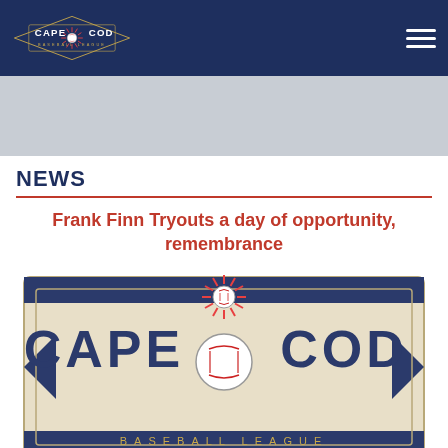Cape Cod Baseball League
NEWS
Frank Finn Tryouts a day of opportunity, remembrance
[Figure (logo): Cape Cod Baseball League logo — vintage style badge with diamond shape, navy blue panels, sunburst behind a baseball, text reads CAPE COD BASEBALL LEAGUE]